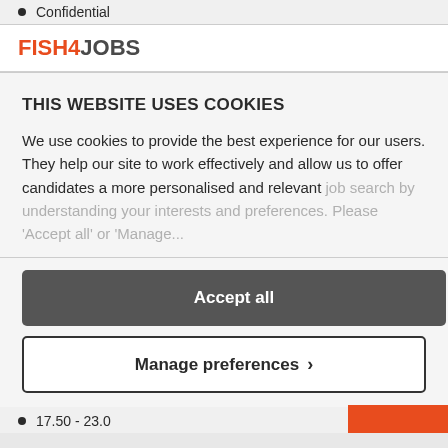Confidential
[Figure (logo): Fish4Jobs logo with FISH4 in orange/red and JOBS in dark grey]
THIS WEBSITE USES COOKIES
We use cookies to provide the best experience for our users. They help our site to work effectively and allow us to offer candidates a more personalised and relevant job search by understanding your interests and preferences. Please 'Accept all' or 'Manage...
Accept all
Manage preferences >
17.50 - 23.0